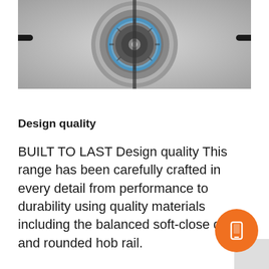[Figure (photo): Close-up photo of a stainless steel gas stove burner with blue flame ring and black knobs, viewed from above.]
Design quality
BUILT TO LAST Design quality This range has been carefully crafted in every detail from performance to durability using quality materials including the balanced soft-close door and rounded hob rail.